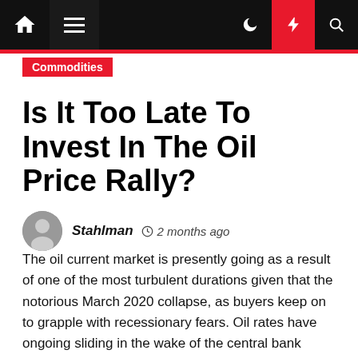Commodities
Is It Too Late To Invest In The Oil Price Rally?
Stahlman  2 months ago
The oil current market is presently going as a result of one of the most turbulent durations given that the notorious March 2020 collapse, as buyers keep on to grapple with recessionary fears. Oil rates have ongoing sliding in the wake of the central bank choosing to hike the fascination rate by a file-significant 75 basis points, with WTI futures for July settlement were being quoted at $104.48/barrel on Wednesday, which is down approximately 8% on the